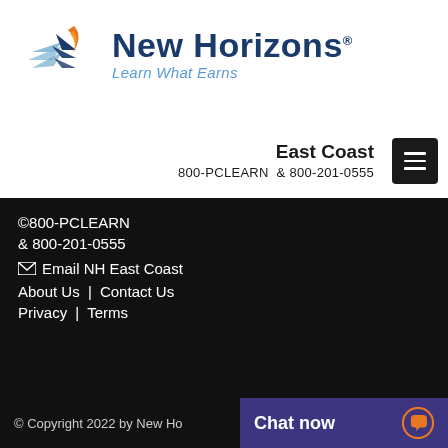[Figure (logo): New Horizons logo with stylized wing/arrow icon and text 'New Horizons' with tagline 'Learn What Earns']
East Coast
800-PCLEARN & 800-201-0555
©800-PCLEARN
& 800-201-0555
✉ Email NH East Coast
About Us | Contact Us
Privacy | Terms
© Copyright 2022 by New Ho
Chat now